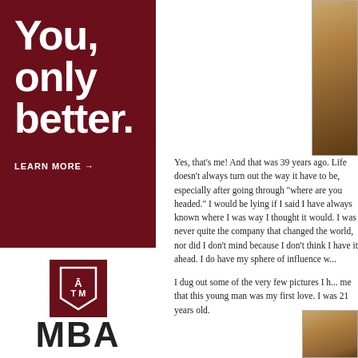You, only better.
LEARN MORE →
[Figure (logo): Texas A&M MBA logo — maroon square with ATM shield and 'MBA' text below]
[Figure (photo): Sepia-toned portrait photo, top right]
Yes, that's me! And that was 39 years ago. Life doesn't always turn out the way it have to be, especially after going through "where are you headed." I would be lying if I said I have always known where I was headed. way I thought it would. I was never quite the visionary who started a company that changed the world, nor did I invent the next great thing. I don't mind because I don't think I have it in me to stay that far ahead. I do have my sphere of influence w...
I dug out some of the very few pictures I have to remind me that this young man was my first love. I was 21 years old.
[Figure (photo): Sepia-toned portrait photo, bottom right corner]